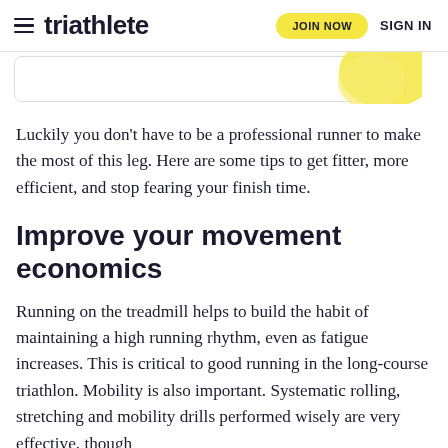triathlete | JOIN NOW | SIGN IN
[Figure (other): Partial image strip showing a rounded-corner card with a yellow graphic element visible on the right side]
Luckily you don't have to be a professional runner to make the most of this leg. Here are some tips to get fitter, more efficient, and stop fearing your finish time.
Improve your movement economics
Running on the treadmill helps to build the habit of maintaining a high running rhythm, even as fatigue increases. This is critical to good running in the long-course triathlon. Mobility is also important. Systematic rolling, stretching and mobility drills performed wisely are very effective, though